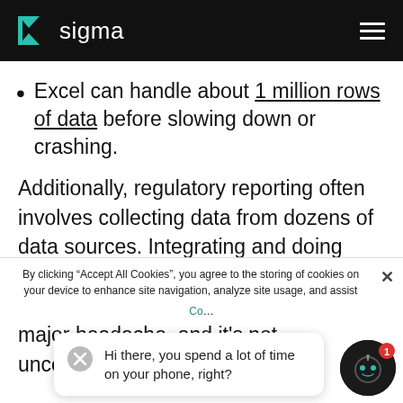sigma
Excel can handle about 1 million rows of data before slowing down or crashing.
Additionally, regulatory reporting often involves collecting data from dozens of data sources. Integrating and doing analysis across all of these disparate data formats and nomenclatures is a major headache, and it's not uncommon for risk and
By clicking “Accept All Cookies”, you agree to the storing of cookies on your device to enhance site navigation, analyze site usage, and assist
Hi there, you spend a lot of time on your phone, right?